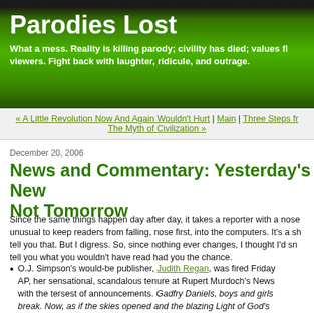Parodies Lost
What a mess. Reality is killing parody; civility has died; values fl... viewers. Fight back with laughter, ridicule, and outrage.
« A Little Revolution Now And Again Wouldn't Hurt | Main | Three Steps fr... The Myth of Civilization »
December 20, 2006
News and Commentary: Yesterday's New... Not Tomorrow
Since the same things happen day after day, it takes a reporter with a nose... unusual to keep readers from falling, nose first, into the computers. It's a sh... tell you that. But I digress. So, since nothing ever changes, I thought I'd sn... tell you what you wouldn't have read had you the chance.
O.J. Simpson's would-be publisher, Judith Regan, was fired Friday... AP, her sensational, scandalous tenure at Rupert Murdoch's News... with the tersest of announcements. Gadfry Daniels, boys and girls... break. Now, as if the skies opened and the blazing Light of God's... shed upon, the human race is demonstrating decency. Sorry, Cha... another few babies just died in Darfur. Of course the book was st...